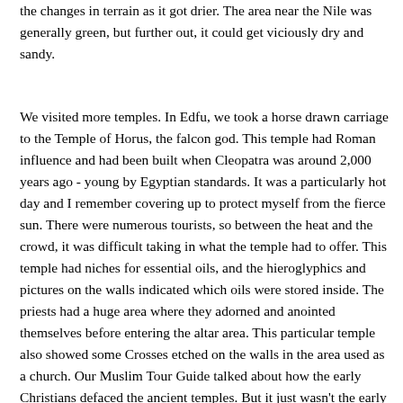the changes in terrain as it got drier. The area near the Nile was generally green, but further out, it could get viciously dry and sandy.
We visited more temples. In Edfu, we took a horse drawn carriage to the Temple of Horus, the falcon god. This temple had Roman influence and had been built when Cleopatra was around 2,000 years ago - young by Egyptian standards. It was a particularly hot day and I remember covering up to protect myself from the fierce sun. There were numerous tourists, so between the heat and the crowd, it was difficult taking in what the temple had to offer. This temple had niches for essential oils, and the hieroglyphics and pictures on the walls indicated which oils were stored inside. The priests had a huge area where they adorned and anointed themselves before entering the altar area. This particular temple also showed some Crosses etched on the walls in the area used as a church. Our Muslim Tour Guide talked about how the early Christians defaced the ancient temples. But it just wasn't the early Christians who did this, because Pharaoh Ramses II was big on replacing earlier pharaoh's names with his. Of course, we have the grave robbers who